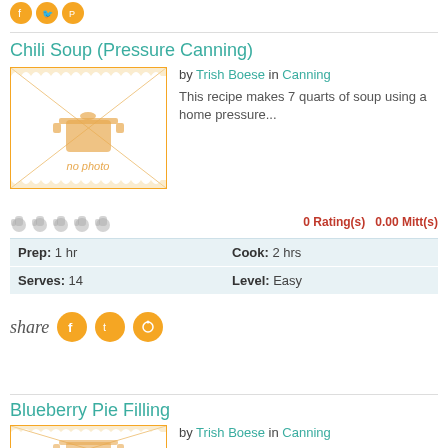[Figure (other): Social share icons (Facebook, Twitter, Pinterest) in orange circles at top]
Chili Soup (Pressure Canning)
[Figure (photo): No photo placeholder image with orange border, diagonal lines, pot icon, and 'no photo' label]
by Trish Boese in Canning
This recipe makes 7 quarts of soup using a home pressure...
0 Rating(s)  0.00 Mitt(s)
| Prep: 1 hr | Cook: 2 hrs |
| Serves: 14 | Level: Easy |
[Figure (other): Share label with Facebook, Twitter, Pinterest social icons in orange circles]
Blueberry Pie Filling
[Figure (photo): No photo placeholder image with orange border, diagonal lines, pot icon]
by Trish Boese in Canning
This is our favorite topping on plain cheesecake.